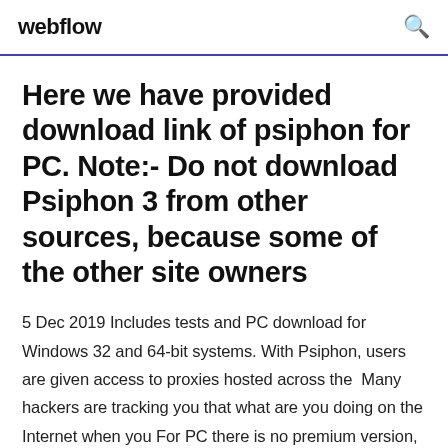webflow
Here we have provided download link of psiphon for PC. Note:- Do not download Psiphon 3 from other sources, because some of the other site owners
5 Dec 2019 Includes tests and PC download for Windows 32 and 64-bit systems. With Psiphon, users are given access to proxies hosted across the  Many hackers are tracking you that what are you doing on the Internet when you For PC there is no premium version, but there is a premium version for the Android. There is a